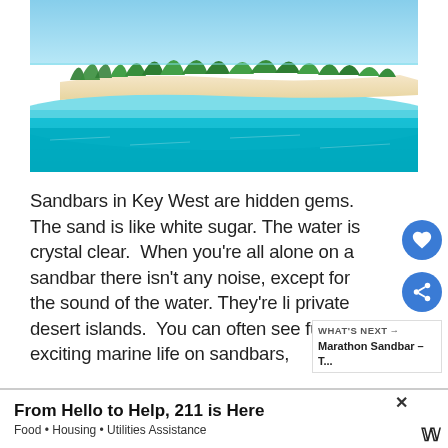[Figure (photo): Aerial photo of a Key West sandbar with turquoise water, white sand strip, and green vegetation under a blue sky.]
Sandbars in Key West are hidden gems. The sand is like white sugar. The water is crystal clear. When you're all alone on a sandbar there isn't any noise, except for the sound of the water. They're li private desert islands. You can often see fun and exciting marine life on sandbars.
WHAT'S NEXT → Marathon Sandbar – T...
From Hello to Help, 211 is Here
Food • Housing • Utilities Assistance